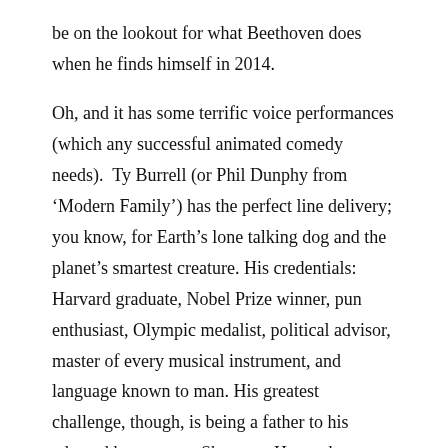be on the lookout for what Beethoven does when he finds himself in 2014.

Oh, and it has some terrific voice performances (which any successful animated comedy needs).  Ty Burrell (or Phil Dunphy from ‘Modern Family’) has the perfect line delivery; you know, for Earth’s lone talking dog and the planet’s smartest creature. His credentials: Harvard graduate, Nobel Prize winner, pun enthusiast, Olympic medalist, political advisor, master of every musical instrument, and language known to man. His greatest challenge, though, is being a father to his adopted human son, Sherman. He teaches Sherman about world history by traveling through a time machine he invented called the WABAC (pronounced “Way Back”, get it?). Together, they manage to meet everyone from Gandhi to Jackie Robinson.